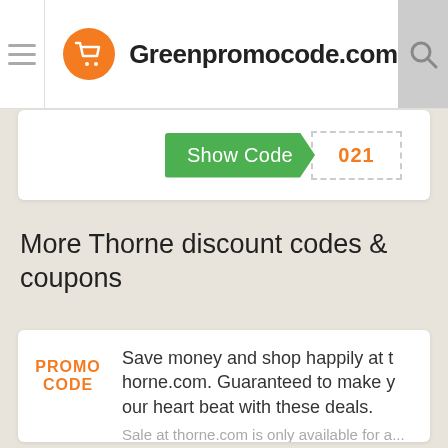Greenpromocode.com
[Figure (screenshot): Show Code button with code '021' partially revealed, dashed border reveal area]
More Thorne discount codes & coupons
PROMO CODE
Save money and shop happily at thorne.com. Guaranteed to make your heart beat with these deals.
Sale at thorne.com is only available for a...
[Figure (screenshot): Show Code button with code 'P15' partially revealed, dashed border reveal area]